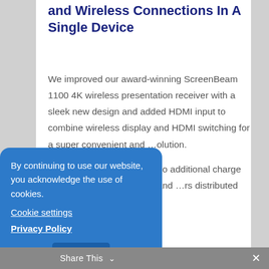and Wireless Connections In A Single Device
We improved our award-winning ScreenBeam 1100 4K wireless presentation receiver with a sleek new design and added HDMI input to combine wireless display and HDMI switching for a super convenient and …olution.
…receiver includes CMS …o additional charge so …can remotely access and …rs distributed over …raphic locations and
By continuing to use our website, you acknowledge the use of cookies.
Cookie settings
Privacy Policy
X
Share This ∨  ✕